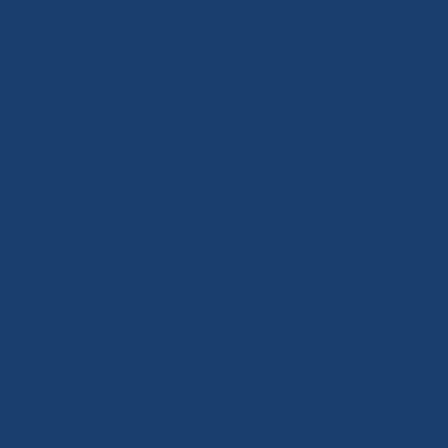n g at a to r p e d o b o m b e r . I think you are more likely on to